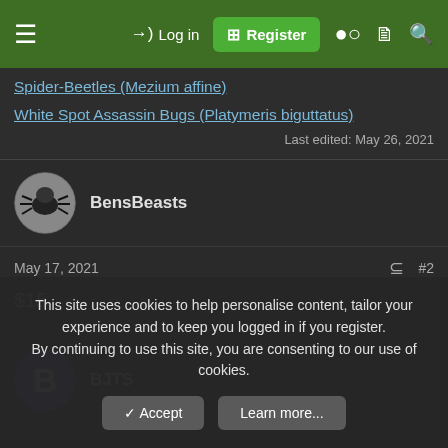Log in | Register
Spider-Beetles (Mezium affine)
White Spot Assassin Bugs (Platymeris biguttatus)
Last edited: May 26, 2021
BensBeasts
May 17, 2021  #2
$15
BJTS
This site uses cookies to help personalise content, tailor your experience and to keep you logged in if you register.
By continuing to use this site, you are consenting to our use of cookies.